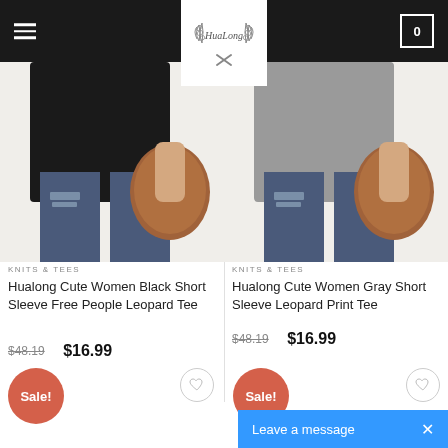HuaLong — Navigation header with logo and cart
[Figure (photo): Woman wearing a black short sleeve top with ripped jeans and brown clutch bag]
KNITS & TEES
Hualong Cute Women Black Short Sleeve Free People Leopard Tee
$48.19  $16.99
[Figure (photo): Woman wearing a gray short sleeve top with ripped jeans and brown clutch bag]
KNITS & TEES
Hualong Cute Women Gray Short Sleeve Leopard Print Tee
$48.19  $16.99
Sale!
Sale!
Leave a message  ×